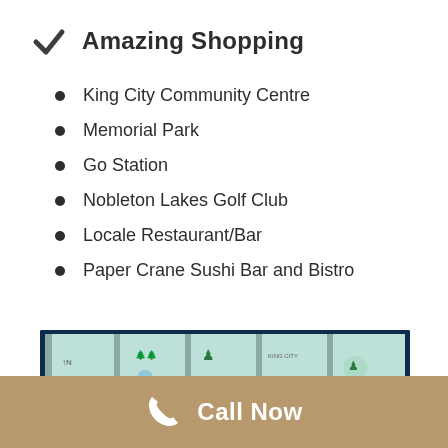Amazing Shopping
King City Community Centre
Memorial Park
Go Station
Nobleton Lakes Golf Club
Locale Restaurant/Bar
Paper Crane Sushi Bar and Bistro
[Figure (map): Area map showing local landmarks and golf courses with road grid]
Call Now